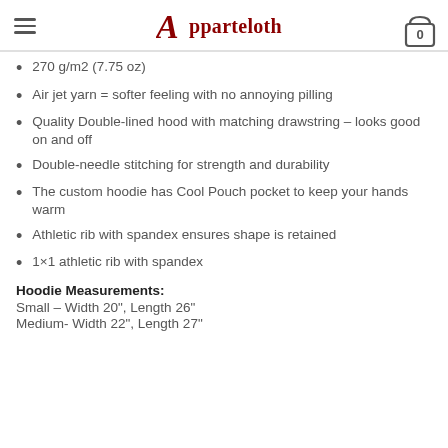Apparteloth
270 g/m2 (7.75 oz)
Air jet yarn = softer feeling with no annoying pilling
Quality Double-lined hood with matching drawstring – looks good on and off
Double-needle stitching for strength and durability
The custom hoodie has Cool Pouch pocket to keep your hands warm
Athletic rib with spandex ensures shape is retained
1×1 athletic rib with spandex
Hoodie Measurements:
Small – Width 20", Length 26"
Medium- Width 22", Length 27"